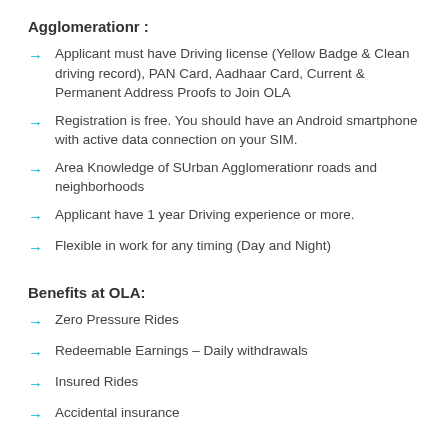Agglomerationr :
Applicant must have Driving license (Yellow Badge & Clean driving record), PAN Card, Aadhaar Card, Current & Permanent Address Proofs to Join OLA
Registration is free. You should have an Android smartphone with active data connection on your SIM.
Area Knowledge of SUrban Agglomerationr roads and neighborhoods
Applicant have 1 year Driving experience or more.
Flexible in work for any timing (Day and Night)
Benefits at OLA:
Zero Pressure Rides
Redeemable Earnings – Daily withdrawals
Insured Rides
Accidental insurance